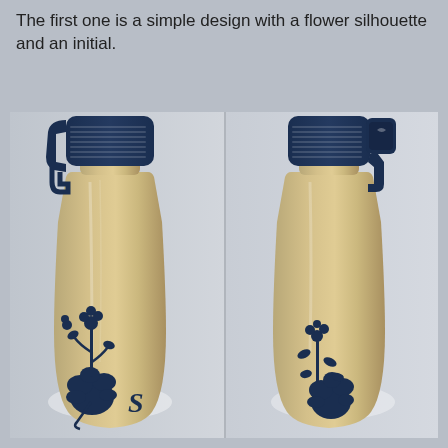The first one is a simple design with a flower silhouette and an initial.
[Figure (photo): Two views of a stainless steel travel mug with a dark navy blue lid/cap mechanism. The left view shows the front with a dark navy flower silhouette decal and the letter 'S' on the lower portion of the bottle. The right view shows the back/side of the same bottle with a similar flower silhouette decal but no initial visible.]